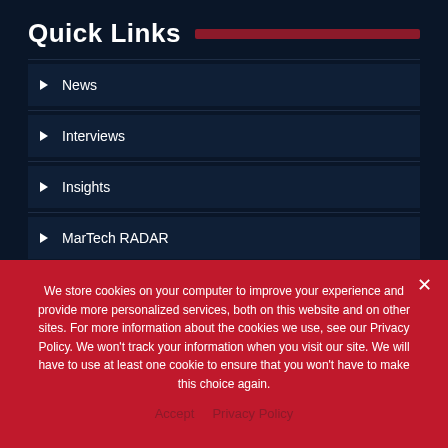Quick Links
News
Interviews
Insights
MarTech RADAR
Resources
Events
We store cookies on your computer to improve your experience and provide more personalized services, both on this website and on other sites. For more information about the cookies we use, see our Privacy Policy. We won't track your information when you visit our site. We will have to use at least one cookie to ensure that you won't have to make this choice again.
Accept   Privacy Policy